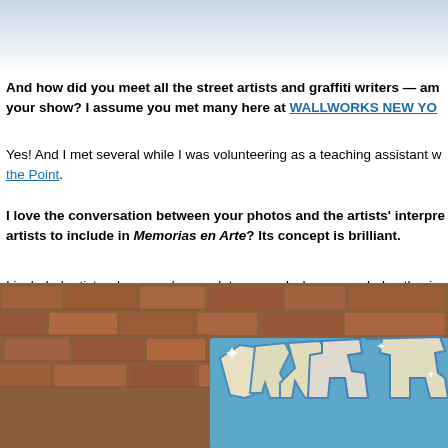[Figure (photo): Top portion of a photo — light blue/gray gradient sky or background, cropped at top of page]
And how did you meet all the street artists and graffiti writers — am your show? I assume you met many here at WALLWORKS NEW YO
Yes! And I met several while I was volunteering as a teaching assistant w the Point.
I love the conversation between your photos and the artists' interpre artists to include in Memorias en Arte? Its concept is brilliant.
I included artists whose works speak to me and who responded enthusia few of the artists I approached had too many other commitments at the ti collaborate with them in the future — perhaps in an expanded version of
[Figure (photo): Bottom portion showing a brick wall with graffiti art — blue background graffiti lettering with white/cream colored stylized letters, sparkle effects]